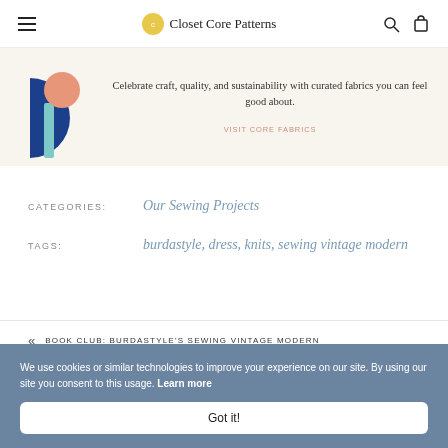Closet Core Patterns
[Figure (illustration): Promotional banner with geometric shapes (dark blue semicircle, salmon pink circle) on a warm cream background. Text reads: Celebrate craft, quality, and sustainability with curated fabrics you can feel good about. VISIT CORE FABRICS]
CATEGORIES: Our Sewing Projects
TAGS: burdastyle, dress, knits, sewing vintage modern
« BOOK CLUB: BURDASTYLE'S SEWING VINTAGE MODERN
We use cookies or similar technologies to improve your experience on our site. By using our site you consent to this usage. Learn more
Got it!